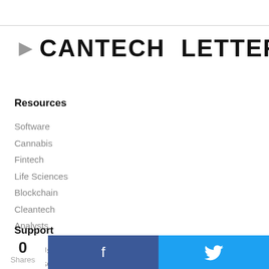> CANTECH LETTER
Resources
Software
Cannabis
Fintech
Life Sciences
Blockchain
Cleantech
Analysts
Support
About Us
Advertise